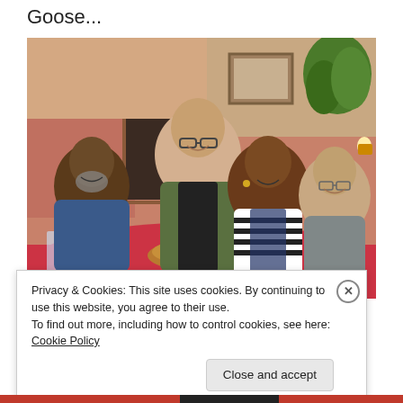Goose...
[Figure (photo): Four people seated and standing around a table in a restaurant setting. Three men and one woman are smiling at the camera. The table has drinks, food, and red tablecloth.]
Privacy & Cookies: This site uses cookies. By continuing to use this website, you agree to their use.
To find out more, including how to control cookies, see here: Cookie Policy
Close and accept